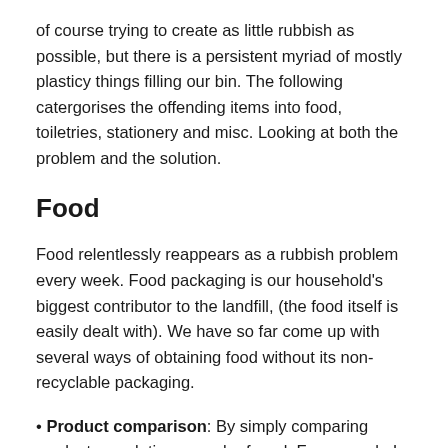of course trying to create as little rubbish as possible, but there is a persistent myriad of mostly plasticy things filling our bin. The following catergorises the offending items into food, toiletries, stationery and misc. Looking at both the problem and the solution.
Food
Food relentlessly reappears as a rubbish problem every week. Food packaging is our household's biggest contributor to the landfill, (the food itself is easily dealt with). We have so far come up with several ways of obtaining food without its non-recyclable packaging.
• Product comparison: By simply comparing products a solutions may be found. For example I thought buying herbs and spices would require sourcing bulk produce, but upon closer inspection I realized that Gregg's